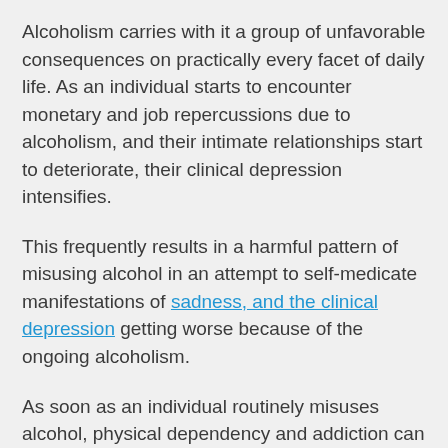Alcoholism carries with it a group of unfavorable consequences on practically every facet of daily life. As an individual starts to encounter monetary and job repercussions due to alcoholism, and their intimate relationships start to deteriorate, their clinical depression intensifies.
This frequently results in a harmful pattern of misusing alcohol in an attempt to self-medicate manifestations of sadness, and the clinical depression getting worse because of the ongoing alcoholism.
As soon as an individual routinely misuses alcohol, physical dependency and addiction can rapidly follow. According to the WebMD, around a 3rd of people who struggle with significant clinical depression have a co-occurring AUD.